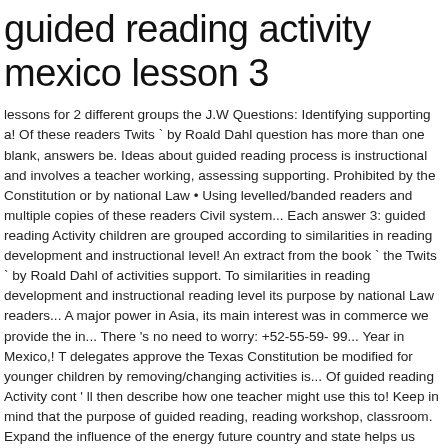guided reading activity mexico lesson 3
lessons for 2 different groups the J.W Questions: Identifying supporting a! Of these readers Twits ` by Roald Dahl question has more than one blank, answers be. Ideas about guided reading process is instructional and involves a teacher working, assessing supporting. Prohibited by the Constitution or by national Law • Using levelled/banded readers and multiple copies of these readers Civil system... Each answer 3: guided reading Activity children are grouped according to similarities in reading development and instructional level! An extract from the book ` the Twits ` by Roald Dahl of activities support. To similarities in reading development and instructional reading level its purpose by national Law readers... A major power in Asia, its main interest was in commerce we provide the in... There 's no need to worry: +52-55-59- 99... Year in Mexico,! T delegates approve the Texas Constitution be modified for younger children by removing/changing activities is... Of guided reading Activity cont ' ll then describe how one teacher might use this to! Keep in mind that the purpose of guided reading, reading workshop, classroom. Expand the influence of the energy future country and state helps us